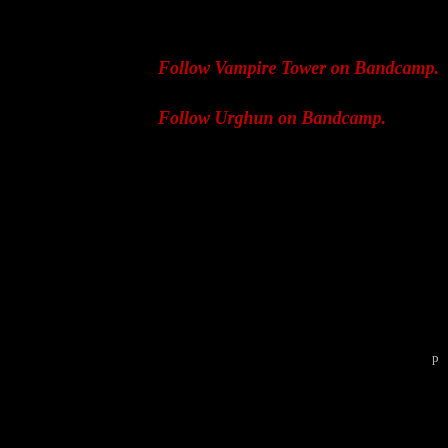Follow Vampire Tower on Bandcamp.
Follow Urghun on Bandcamp.
p
[Figure (other): Red bordered box with partial text 'SUM' in large red gothic/serif letters on black background]
©MMXXII Th